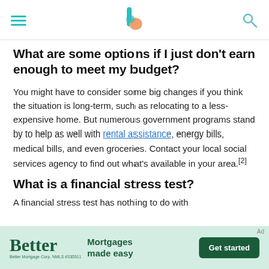[hamburger menu] [Better logo] [search icon]
What are some options if I just don't earn enough to meet my budget?
You might have to consider some big changes if you think the situation is long-term, such as relocating to a less-expensive home. But numerous government programs stand by to help as well with rental assistance, energy bills, medical bills, and even groceries. Contact your local social services agency to find out what's available in your area.[2]
What is a financial stress test?
A financial stress test has nothing to do with
[Figure (infographic): Advertisement banner for Better Mortgages: 'Better Mortgages made easy' with a Get started button. Better Mortgage Corp. NMLS #330511]